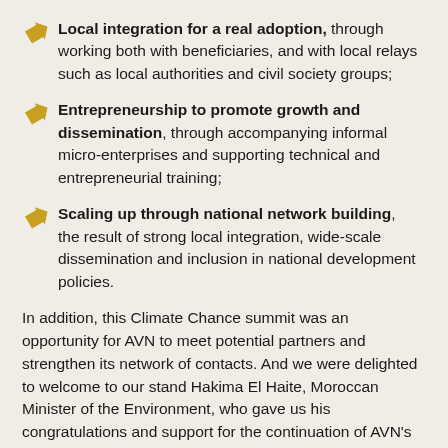Local integration for a real adoption, through working both with beneficiaries, and with local relays such as local authorities and civil society groups;
Entrepreneurship to promote growth and dissemination, through accompanying informal micro-enterprises and supporting technical and entrepreneurial training;
Scaling up through national network building, the result of strong local integration, wide-scale dissemination and inclusion in national development policies.
In addition, this Climate Chance summit was an opportunity for AVN to meet potential partners and strengthen its network of contacts. And we were delighted to welcome to our stand Hakima El Haite, Moroccan Minister of the Environment, who gave us his congratulations and support for the continuation of AVN's work in Africa.